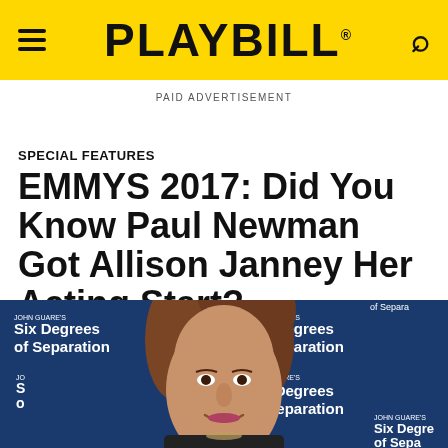PLAYBILL
PAID ADVERTISEMENT
SPECIAL FEATURES
EMMYS 2017: Did You Know Paul Newman Got Allison Janney Her Acting Start?
[Figure (photo): Photo of Allison Janney smiling at a 'Six Degrees of Separation' event backdrop. She is wearing a dark outfit. The blue backdrop shows the text 'John Guare's Six Degrees of Separation' repeated multiple times.]